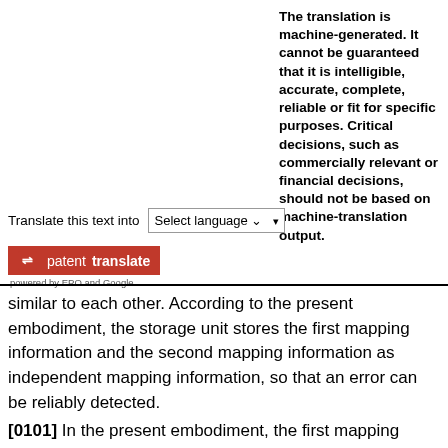The translation is machine-generated. It cannot be guaranteed that it is intelligible, accurate, complete, reliable or fit for specific purposes. Critical decisions, such as commercially relevant or financial decisions, should not be based on machine-translation output.
Translate this text into  Select language
[Figure (logo): patent translate logo - red rectangle with arrows icon and text 'patenttranslate', below 'powered by EPO and Google']
similar to each other. According to the present embodiment, the storage unit stores the first mapping information and the second mapping information as independent mapping information, so that an error can be reliably detected.
[0101] In the present embodiment, the first mapping...